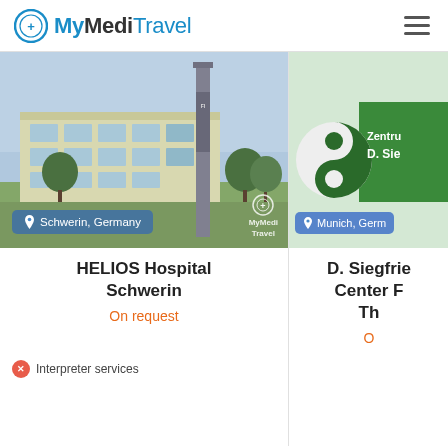MyMediTravel
[Figure (photo): HELIOS Hospital Schwerin building exterior with a tall column signage, trees in foreground, location badge showing Schwerin, Germany, MyMediTravel watermark]
HELIOS Hospital Schwerin
On request
Interpreter services
[Figure (photo): Zentrum D. Siegfried medical center logo with yin-yang style green circle design, partially visible, location badge showing Munich, Germany]
D. Siegfried Center F... Th...
O...